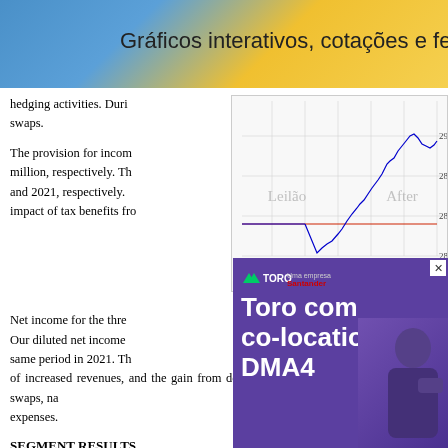Gráficos interativos, cotações e ferram
hedging activities. Duri swaps.
The provision for incom million, respectively. Th and 2021, respectively. impact of tax benefits fro
Net income for the thre Our diluted net income same period in 2021. Th of increased revenues, and the gain from de-designated interest rate swaps, na expenses.
[Figure (continuous-plot): Intraday stock price chart with 'Leilão' and 'After' labels, time axis from 0600 to 1800, price range 284-290, blue line chart with red horizontal reference line, source: (c) www.advfn.com]
SEGMENT RESULTS
We evaluate reportable contribution is defined a SG&A expenses, Depre margin is defined as gros
Reportable Segments
[Figure (other): Advertisement for Toro (Uma empresa Santander) - Toro com co-location DMA4, with purple background and person image]